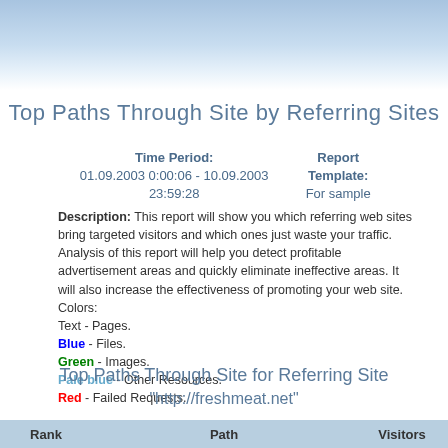Top Paths Through Site by Referring Sites
Time Period: 01.09.2003 0:00:06 - 10.09.2003 23:59:28
Report Template: For sample
Description: This report will show you which referring web sites bring targeted visitors and which ones just waste your traffic. Analysis of this report will help you detect profitable advertisement areas and quickly eliminate ineffective areas. It will also increase the effectiveness of promoting your web site.
Colors:
Text - Pages.
Blue - Files.
Green - Images.
Pale blue - Other Resources.
Red - Failed Requests.
Top Paths Through Site for Referring Site
"http://freshmeat.net"
| Rank | Path | Visitors |
| --- | --- | --- |